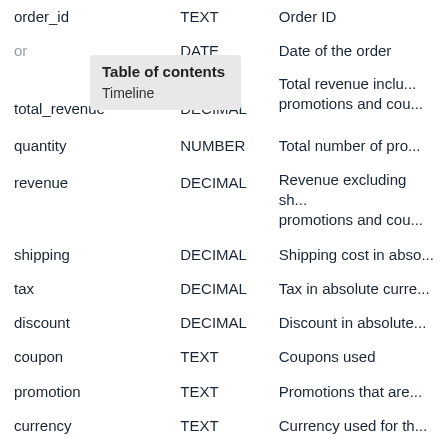| Field | Type | Description |
| --- | --- | --- |
| order_id | TEXT | Order ID |
| order_date | DATE | Date of the order |
| total_revenue | DECIMAL | Total revenue inclu... promotions and cou... |
| quantity | NUMBER | Total number of pro... |
| revenue | DECIMAL | Revenue excluding sh... promotions and cou... |
| shipping | DECIMAL | Shipping cost in abs... |
| tax | DECIMAL | Tax in absolute curre... |
| discount | DECIMAL | Discount in absolute... |
| coupon | TEXT | Coupons used |
| promotion | TEXT | Promotions that are... |
| currency | TEXT | Currency used for th... |
| tag | TEXT | Tags to be used for f... |
| product | ARRAY | All order lines in the o... |
| product.id | TEXT | Internal product ID o... |
| product.sku | TEXT | Product SKU |
Table of contents
Timeline